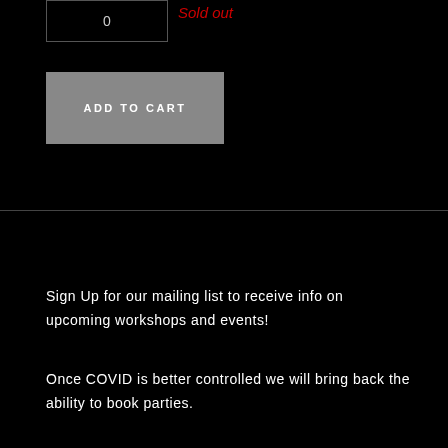0
Sold out
ADD TO CART
Sign Up for our mailing list to receive info on upcoming workshops and events!
Once COVID is better controlled we will bring back the ability to book parties.